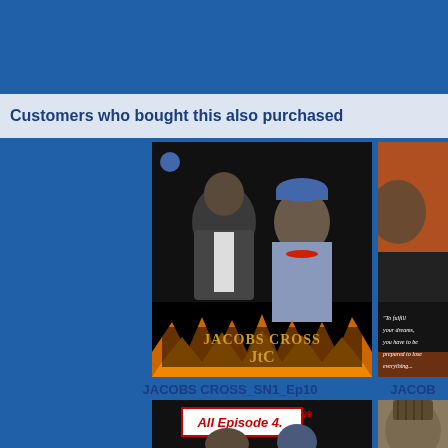Customers who bought this also purchased
[Figure (photo): Movie cover for JACOBS CROSS SN1 Ep10 showing two men, one in a suit and one in traditional African attire with a blue cap and red beads]
JACOBS CROSS_SN1_Ep10
[Figure (photo): Partial movie cover on the right side showing a man in a suit with inspirational text overlay]
JACOB
[Figure (photo): Bottom left movie cover showing All Episode 4.99 banner with same two men from Jacobs Cross]
[Figure (photo): Bottom right partial movie cover showing a person]